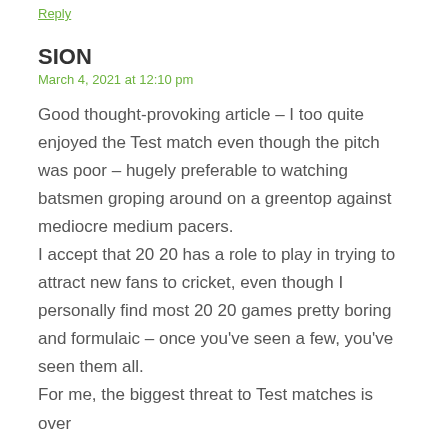Reply
SION
March 4, 2021 at 12:10 pm
Good thought-provoking article – I too quite enjoyed the Test match even though the pitch was poor – hugely preferable to watching batsmen groping around on a greentop against mediocre medium pacers.
I accept that 20 20 has a role to play in trying to attract new fans to cricket, even though I personally find most 20 20 games pretty boring and formulaic – once you've seen a few, you've seen them all.
For me, the biggest threat to Test matches is over